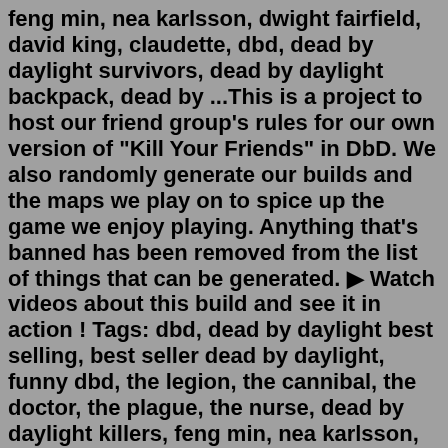feng min, nea karlsson, dwight fairfield, david king, claudette, dbd, dead by daylight survivors, dead by daylight backpack, dead by ...This is a project to host our friend group's rules for our own version of "Kill Your Friends" in DbD. We also randomly generate our builds and the maps we play on to spice up the game we enjoy playing. Anything that's banned has been removed from the list of things that can be generated. ▶ Watch videos about this build and see it in action ! Tags: dbd, dead by daylight best selling, best seller dead by daylight, funny dbd, the legion, the cannibal, the doctor, the plague, the nurse, dead by daylight killers, feng min, nea karlsson, dwight fairfield, david king, claudette, dbd, dead by daylight survivors, dead by daylight backpack, dead by daylight silent hill, dbd silent ...Jul 26, 2022 · Ivory Memento Mori & Ebony Memento Mori will soon cease to exist in DBD *unless* you're running perks such as Hex: Devour Hope and Rancor or perhaps you're playing with Tombstone Myers. How do you feel about these coming changes regarding the...